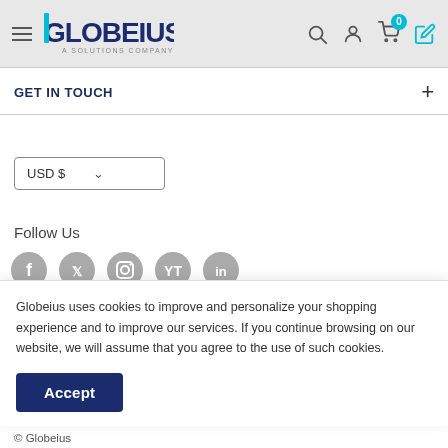Globeius — A Solutions Company
GET IN TOUCH
USD $
Follow Us
Globeius uses cookies to improve and personalize your shopping experience and to improve our services. If you continue browsing on our website, we will assume that you agree to the use of such cookies.
Accept
© Globeius